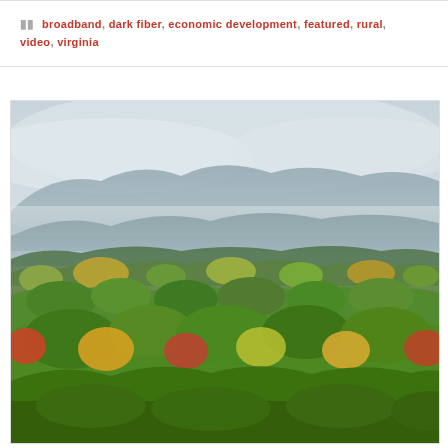broadband, dark fiber, economic development, featured, rural, video, virginia
[Figure (photo): Aerial view of rolling forested hills in autumn with misty mountains in the background, Virginia rural landscape]